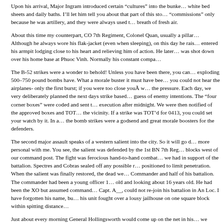Upon his arrival, Major Ingram introduced certain “cultures” into the bunker including white bed sheets and daily baths. I’ll let him tell you about that part of this story. He was “commissions” only because he was artillery, and they were always used to a breath of fresh air.
About this time my counterpart, CO 7th Regiment, Colonel Quan, usually a pillar of strength. Although he always wore his flak-jacket (even when sleeping), on this day he raised his arm and entered his armpit lodging close to his heart and relieving him of action. He later told me his chopper was shot down over his home base at Phuoc Vinh. Normally his constant companion...
The B-52 strikes were a wonder to behold! Unless you have been there, you can’t imagine what exploding 500–750 pound bombs have. What a morale buster it must have been to the enemy since you could not hear the airplanes- only the first burst; if you were too close youÃ would feel the pressure. Each day, we very deliberately planned the next days strike based on our best guess of enemy intentions. The “four corner boxes” were coded and sent to Saigon for approval and execution after midnight. We were then notified of the approved boxes and TOT’s for strikes in the vicinity. If a strike was TOT’d for 0413, you could set your watch by it. In all cases, the bomb strikes were a godsend and great morale boosters for the defenders.
The second major assault speaks of a western salient into the city. So it will go deeper and become more personal with me. You see, the salient was defended by the 1st BN 7th Regiment, only two blocks west of our command post. The fight was ferocious hand-to-hand combat using all forces we had in support of the battalion. Spectres and Cobras sealed off any possible route and were positioned to limit penetration. When the salient was finally restored, the dead were the Battalion Commander and half of his battalion. The commander had been a young officer 1st Lt. 24 years old and looking about 16 years old. He had been the XO but assumed command when the Commander, Capt. A__, could not re-join his battalion in An Loc. I have forgotten his name, but I shall never forget his unit fought over a lousy jailhouse on one square block within spitting distance...
Just about every morning General Hollingsworth would come up on the net in his helicopter and we promptly gave him. Most times, the exploding incoming artillery provided an atmosphere. Information we received about action south of us along QL 13 was sketchy to say...